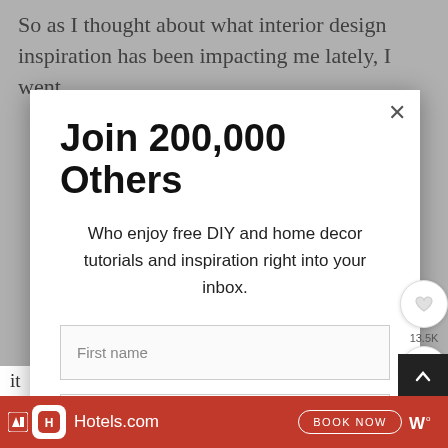So as I thought about what interior design inspiration has been impacting me lately, I went
Join 200,000 Others
Who enjoy free DIY and home decor tutorials and inspiration right into your inbox.
First name
Email address
Subscribe
13.5K
[Figure (screenshot): Hotels.com advertisement bar at bottom with red background, Hotels.com logo, and BOOK NOW button]